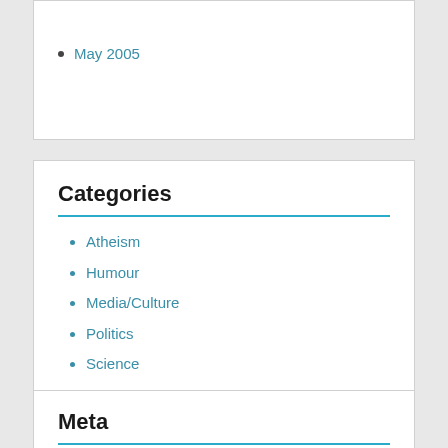May 2005
Categories
Atheism
Humour
Media/Culture
Politics
Science
Sport
Meta